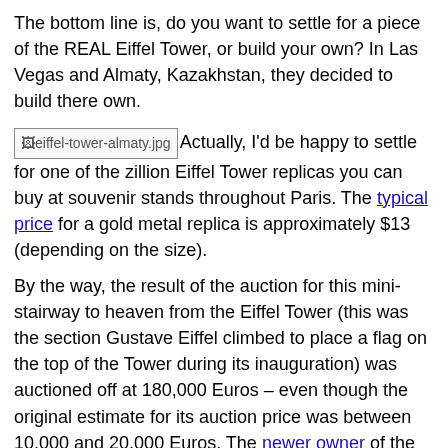The bottom line is, do you want to settle for a piece of the REAL Eiffel Tower, or build your own? In Las Vegas and Almaty, Kazakhstan, they decided to build there own.
[Figure (photo): Broken image placeholder labeled 'eiffel-tower-almaty.jpg']
Actually, I'd be happy to settle for one of the zillion Eiffel Tower replicas you can buy at souvenir stands throughout Paris. The typical price for a gold metal replica is approximately $13 (depending on the size).
By the way, the result of the auction for this mini-stairway to heaven from the Eiffel Tower (this was the section Gustave Eiffel climbed to place a flag on the top of the Tower during its inauguration) was auctioned off at 180,000 Euros – even though the original estimate for its auction price was between 10,000 and 20,000 Euros. The newer owner of the Eiffel Tower also happens to be